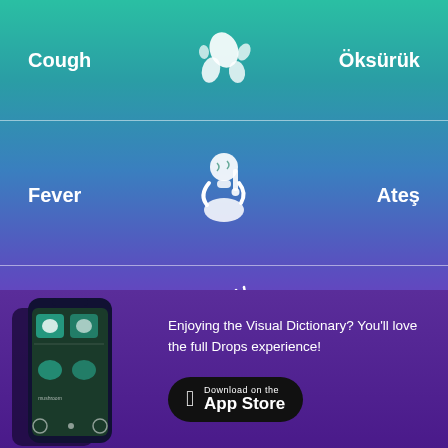[Figure (illustration): White icon of coughing/sneezing droplets centered between Cough and Öksürük labels]
Cough
Öksürük
[Figure (illustration): White icon of person with thermometer (fever) centered between Fever and Ateş labels]
Fever
Ateş
[Figure (illustration): White icon of person holding head with pain lines (headache) centered between Headache and Baş Ağrısı labels]
Headache
Baş Ağrısı
[Figure (screenshot): Smartphone showing the Drops visual dictionary app interface]
Enjoying the Visual Dictionary? You'll love the full Drops experience!
Download on the App Store